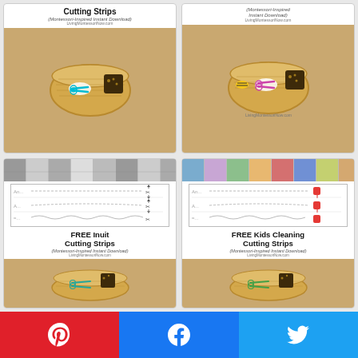[Figure (photo): Top-left card: Cutting Strips Montessori product card partially visible, showing title 'Cutting Strips', subtitle '(Montessori-Inspired Instant Download)', URL 'LivingMontessoriNow.com', and a basket with scissors]
[Figure (photo): Top-right card: Another Montessori cutting strips product card partially visible with subtitle '(Montessori-Inspired Instant Download)', URL 'LivingMontessoriNow.com', bee image visible, and basket with scissors]
[Figure (photo): Bottom-left card: FREE Inuit Cutting Strips (Montessori-Inspired Instant Download) LivingMontessoriNow.com — shows Inuit photo strip, cutting lines worksheet, and basket with teal scissors]
FREE Inuit Cutting Strips
(Montessori-Inspired Instant Download)
LivingMontessoriNow.com
[Figure (photo): Bottom-right card: FREE Kids Cleaning Cutting Strips (Montessori-Inspired Instant Download) LivingMontessoriNow.com — shows kids cleaning photo strip, cutting lines worksheet with red dustpans, and basket with green scissors]
FREE Kids Cleaning Cutting Strips
(Montessori-Inspired Instant Download)
LivingMontessoriNow.com
[Figure (infographic): Social sharing bar with Pinterest (red), Facebook (blue), Twitter (blue) buttons]